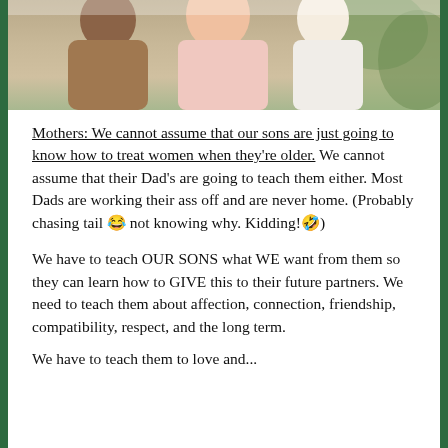[Figure (photo): Partial photo of people, cropped at top of page showing figures outdoors]
Mothers: We cannot assume that our sons are just going to know how to treat women when they're older. We cannot assume that their Dad's are going to teach them either. Most Dads are working their ass off and are never home. (Probably chasing tail 😂 not knowing why. Kidding!🤣)
We have to teach OUR SONS what WE want from them so they can learn how to GIVE this to their future partners. We need to teach them about affection, connection, friendship, compatibility, respect, and the long term.
We have to teach them to love and...